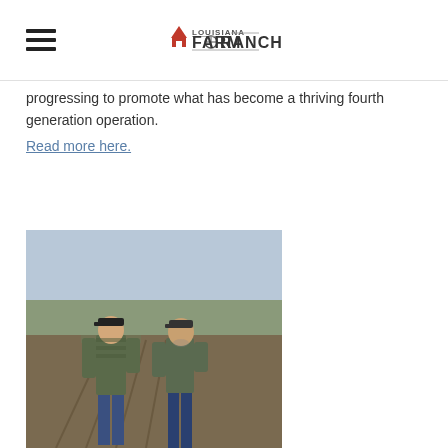Louisiana Farm & Ranch
progressing to promote what has become a thriving fourth generation operation.
Read more here.
[Figure (photo): Two men standing in a farm field with rows of tilled soil and bare trees in the background. Both wearing caps and casual clothing.]